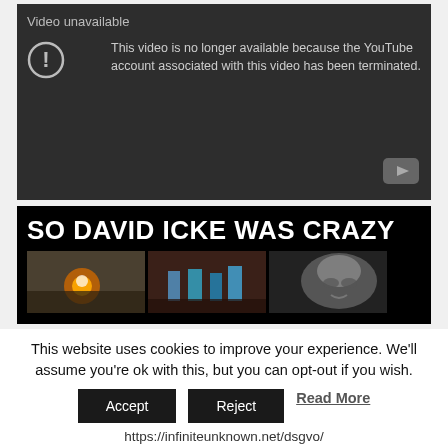[Figure (screenshot): YouTube video unavailable error screen on dark background. Shows 'Video unavailable' heading with exclamation circle icon and message: 'This video is no longer available because the YouTube account associated with this video has been terminated.' YouTube logo icon in bottom right corner.]
[Figure (screenshot): Thumbnail image with black background showing bold white text 'SO DAVID ICKE WAS CRAZY' and three image thumbnails below: an explosion, people with cameras/filming equipment, and a face.]
This website uses cookies to improve your experience. We'll assume you're ok with this, but you can opt-out if you wish.
Accept   Reject   Read More
https://infiniteunknown.net/dsgvo/